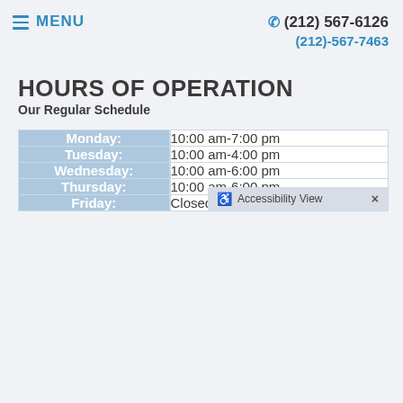≡ MENU   ☎ (212) 567-6126  (212)-567-7463
HOURS OF OPERATION
Our Regular Schedule
| Day | Hours |
| --- | --- |
| Monday: | 10:00 am-7:00 pm |
| Tuesday: | 10:00 am-4:00 pm |
| Wednesday: | 10:00 am-6:00 pm |
| Thursday: | 10:00 am-6:00 pm |
| Friday: | Closed |